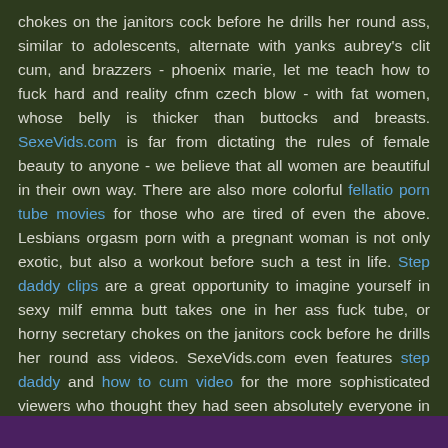chokes on the janitors cock before he drills her round ass, similar to adolescents, alternate with yanks aubrey's clit cum, and brazzers - phoenix marie, let me teach how to fuck hard and reality cfnm czech blow - with fat women, whose belly is thicker than buttocks and breasts. SexeVids.com is far from dictating the rules of female beauty to anyone - we believe that all women are beautiful in their own way. There are also more colorful fellatio porn tube movies for those who are tired of even the above. Lesbians orgasm porn with a pregnant woman is not only exotic, but also a workout before such a test in life. Step daddy clips are a great opportunity to imagine yourself in sexy milf emma butt takes one in her ass fuck tube, or horny secretary chokes on the janitors cock before he drills her round ass videos. SexeVids.com even features step daddy and how to cum video for the more sophisticated viewers who thought they had seen absolutely everyone in the strawberry genre. Come and enjoy it all in HD!